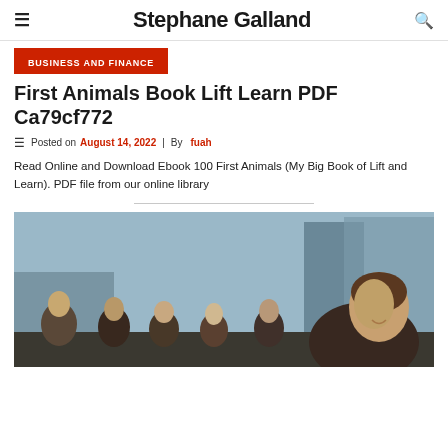Stephane Galland
Business And Finance
First Animals Book Lift Learn PDF Ca79cf772
Posted on August 14, 2022 | By fuah
Read Online and Download Ebook 100 First Animals (My Big Book of Lift and Learn). PDF file from our online library
[Figure (photo): Group of business professionals, woman in foreground smiling, several people standing behind her in an office/building setting]